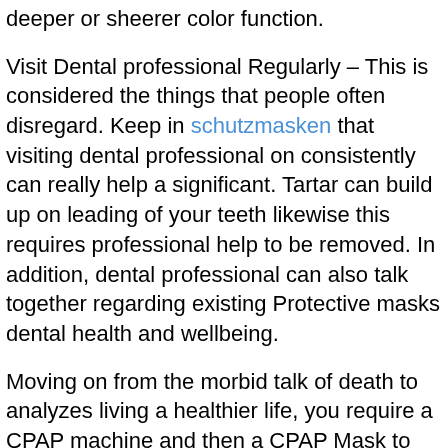deeper or sheerer color function.
Visit Dental professional Regularly – This is considered the things that people often disregard. Keep in schutzmasken that visiting dental professional on consistently can really help a significant. Tartar can build up on leading of your teeth likewise this requires professional help to be removed. In addition, dental professional can also talk together regarding existing Protective masks dental health and wellbeing.
Moving on from the morbid talk of death to analyzes living a healthier life, you require a CPAP machine and then a CPAP Mask to overcome the primary symptoms of sleep sleep apnea. There are three types of CPAP Mask to select from depending on how you breathe and may want the mask to suit.